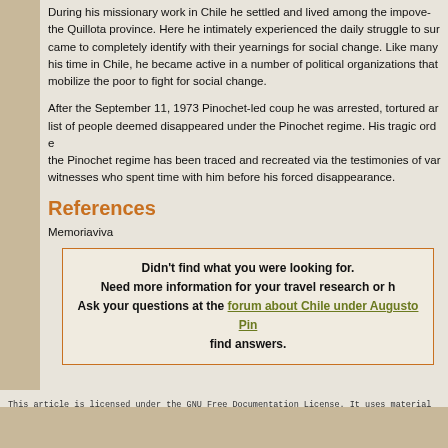During his missionary work in Chile he settled and lived among the impoverished in the Quillota province. Here he intimately experienced the daily struggle to survive and came to completely identify with their yearnings for social change. Like many priests of his time in Chile, he became active in a number of political organizations that sought to mobilize the poor to fight for social change.
After the September 11, 1973 Pinochet-led coup he was arrested, tortured and added to the list of people deemed disappeared under the Pinochet regime. His tragic ordeal at the hands of the Pinochet regime has been traced and recreated via the testimonies of various surviving witnesses who spent time with him before his forced disappearance.
References
Memoriaviva
Didn't find what you were looking for. Need more information for your travel research or h... Ask your questions at the forum about Chile under Augusto Pin... find answers.
This article is licensed under the GNU Free Documentation License. It uses material from the Wi...